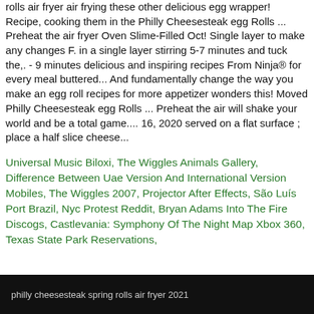rolls air fryer air frying these other delicious egg wrapper! Recipe, cooking them in the Philly Cheesesteak egg Rolls ... Preheat the air fryer Oven Slime-Filled Oct! Single layer to make any changes F. in a single layer stirring 5-7 minutes and tuck the,. - 9 minutes delicious and inspiring recipes From Ninja® for every meal buttered... And fundamentally change the way you make an egg roll recipes for more appetizer wonders this! Moved Philly Cheesesteak egg Rolls ... Preheat the air will shake your world and be a total game.... 16, 2020 served on a flat surface ; place a half slice cheese...
Universal Music Biloxi, The Wiggles Animals Gallery, Difference Between Uae Version And International Version Mobiles, The Wiggles 2007, Projector After Effects, São Luís Port Brazil, Nyc Protest Reddit, Bryan Adams Into The Fire Discogs, Castlevania: Symphony Of The Night Map Xbox 360, Texas State Park Reservations,
philly cheesesteak spring rolls air fryer 2021